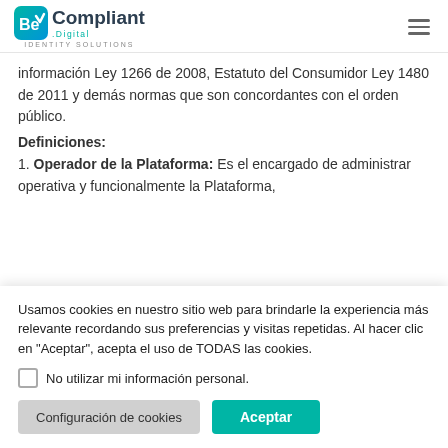BeCompliant .Digital — IDENTITY SOLUTIONS
información Ley 1266 de 2008, Estatuto del Consumidor Ley 1480 de 2011 y demás normas que son concordantes con el orden público.
Definiciones:
1. Operador de la Plataforma: Es el encargado de administrar operativa y funcionalmente la Plataforma,
Usamos cookies en nuestro sitio web para brindarle la experiencia más relevante recordando sus preferencias y visitas repetidas. Al hacer clic en "Aceptar", acepta el uso de TODAS las cookies.
No utilizar mi información personal.
Configuración de cookies | Aceptar